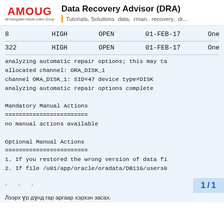AMOUG | All Mongolian Oracle Users Group — Data Recovery Advisor (DRA) | Tutorials, Solutions data, rman, recovery, dr...
8    HIGH    OPEN    01-FEB-17    One
322  HIGH    OPEN    01-FEB-17    One
analyzing automatic repair options; this may ta
allocated channel: ORA_DISK_1
channel ORA_DISK_1: SID=47 device type=DISK
analyzing automatic repair options complete
Mandatory Manual Actions
========================
no manual actions available
Optional Manual Actions
========================
1. If you restored the wrong version of data fi
2. If file /u01/app/oracle/oradata/DB11G/users0
· · ·    1/1    Лээрх үр дүнд гар аргаар хэрхэн засах.